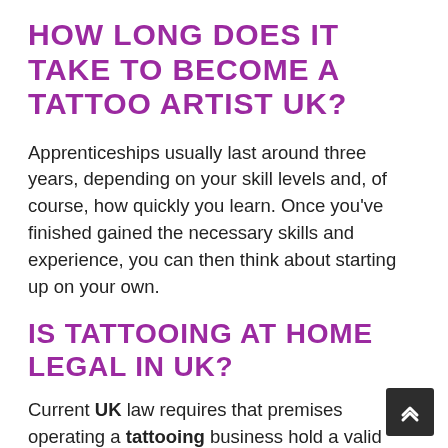HOW LONG DOES IT TAKE TO BECOME A TATTOO ARTIST UK?
Apprenticeships usually last around three years, depending on your skill levels and, of course, how quickly you learn. Once you’ve finished gained the necessary skills and experience, you can then think about starting up on your own.
IS TATTOOING AT HOME LEGAL IN UK?
Current UK law requires that premises operating a tattooing business hold a valid tattoo licence. The law also applies to mobile